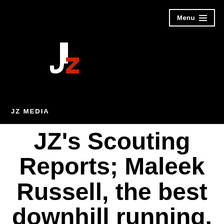[Figure (logo): JZ Media logo on black background — stylized lowercase 'jz' with white j and red z, with a curved hook on the j]
Menu ≡
JZ MEDIA
JZ's Scouting Reports; Maleek Russell, the best downhill running, old school linebacker